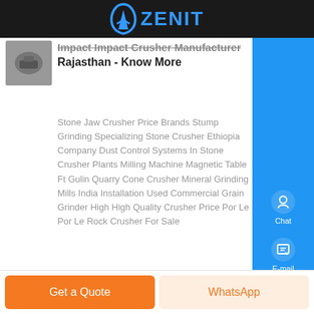ZENIT
[Figure (logo): Thumbnail image of a crusher machine]
Impact Impact Crusher Manufacturer Rajasthan - Know More
Stone Jaw Crusher Price Brands Stump Grinding Specializing Stone Crusher Ethiopia Company Dust Control Systems In Stone Crusher Plants Milling Machine Magnetic Table Ft Gulin Quarry Cone Crusher Mineral Grinding Mills India Installation Used Commercial Grain Grinder High High Quality Crusher Price Por Le Por Le Rock Crusher For Sale
Prev: mini mobile stone crusher
Next: zimbabwe ball mill for sale